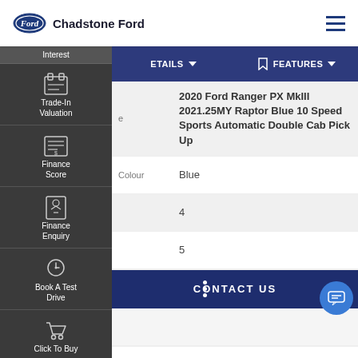Chadstone Ford
DETAILS | FEATURES
| Field | Value |
| --- | --- |
|  | 2020 Ford Ranger PX MkIII 2021.25MY Raptor Blue 10 Speed Sports Automatic Double Cab Pick Up |
| Colour | Blue |
|  | 4 |
|  | 5 |
| ers | 4 |
CONTACT US
FINANCE THIS VEHICLE